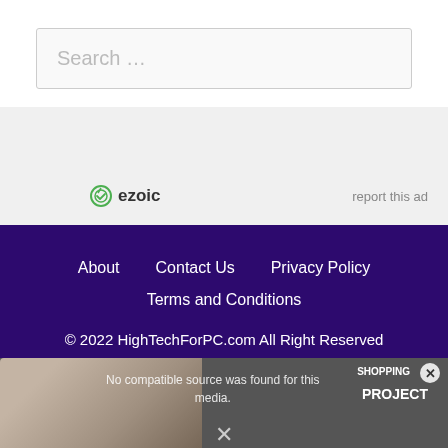Search …
[Figure (screenshot): Ezoic ad banner with ezoic logo and 'report this ad' link on gray background]
About   Contact Us   Privacy Policy   Terms and Conditions   © 2022 HighTechForPC.com All Right Reserved
[Figure (screenshot): Video overlay showing 'No compatible source was found for this media.' with shopping/project branding and close button]